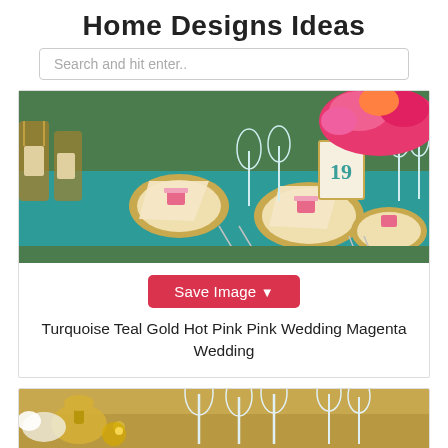Home Designs Ideas
Search and hit enter..
[Figure (photo): Turquoise teal tablecloth wedding reception table with gold chiavari chairs, gold charger plates, pink floral centerpieces, and glassware]
Save Image
Turquoise Teal Gold Hot Pink Pink Wedding Magenta Wedding
[Figure (photo): Close-up of gold and crystal wedding table decorations with glassware and floral arrangements]